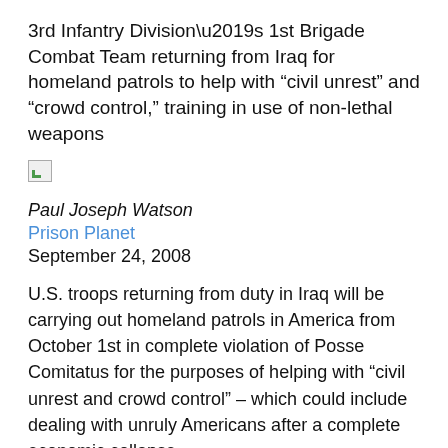3rd Infantry Division’s 1st Brigade Combat Team returning from Iraq for homeland patrols to help with “civil unrest” and “crowd control,” training in use of non-lethal weapons
[Figure (photo): Broken image placeholder (small icon)]
Paul Joseph Watson
Prison Planet
September 24, 2008
U.S. troops returning from duty in Iraq will be carrying out homeland patrols in America from October 1st in complete violation of Posse Comitatus for the purposes of helping with “civil unrest and crowd control” – which could include dealing with unruly Americans after a complete economic collapse.
This document is an excerpt that continues below...